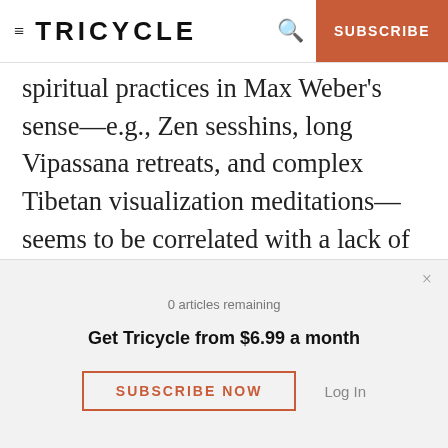TRICYCLE | SUBSCRIBE
spiritual practices in Max Weber's sense—e.g., Zen sesshins, long Vipassana retreats, and complex Tibetan visualization meditations—seems to be correlated with a lack of interest in practices (including ethical precepts) that are perceived as elementary. Finally, there is a significant lack of respect for those who mix material or worldly concerns with their Buddhist practice, whether these concerns are expressed in chanting mantras
0 articles remaining
Get Tricycle from $6.99 a month
SUBSCRIBE NOW
Log In